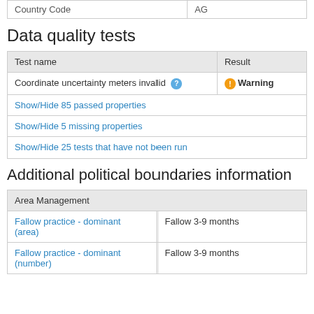| Country Code | AG |
| --- | --- |
| Country Code | AG |
Data quality tests
| Test name | Result |
| --- | --- |
| Coordinate uncertainty meters invalid [?] | ⚠ Warning |
| Show/Hide 85 passed properties |  |
| Show/Hide 5 missing properties |  |
| Show/Hide 25 tests that have not been run |  |
Additional political boundaries information
| Area Management |
| --- |
| Fallow practice - dominant (area) | Fallow 3-9 months |
| Fallow practice - dominant (number) | Fallow 3-9 months |